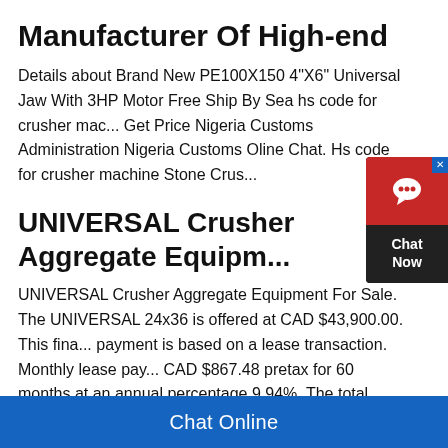Manufacturer Of High-end
Details about Brand New PE100X150 4"X6" Universal Jaw With 3HP Motor Free Ship By Sea hs code for crusher mac... Get Price Nigeria Customs Administration Nigeria Customs Oline Chat. Hs code for crusher machine Stone Crus...
[Figure (other): Chat Now widget overlay with red circle icon and dark background]
UNIVERSAL Crusher Aggregate Equipm...
UNIVERSAL Crusher Aggregate Equipment For Sale. The UNIVERSAL 24x36 is offered at CAD $43,900.00. This fina... payment is based on a lease transaction. Monthly lease pay... CAD $867.48 pretax for 60 months at an annual percentage 9.94%. The total lease cost is $52,048.98 with a $4,390.00
Chat Online